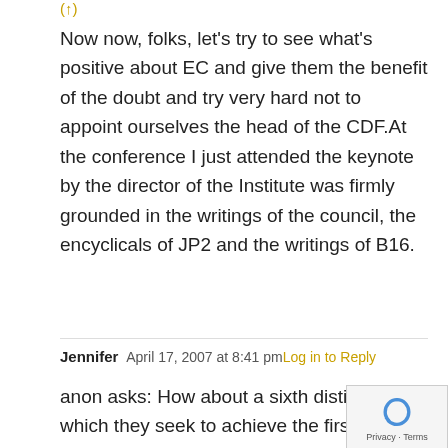Now now, folks, let's try to see what's positive about EC and give them the benefit of the doubt and try very hard not to appoint ourselves the head of the CDF.At the conference I just attended the keynote by the director of the Institute was firmly grounded in the writings of the council, the encyclicals of JP2 and the writings of B16.
Jennifer  April 17, 2007 at 8:41 pm  Log in to Reply
anon asks: How about a sixth distinctive in which they seek to achieve the first five while maintaining fidelity to the Church****Fr. website Fr. linked in his post, follow the is an evangelical catholic?" link on the sidebar